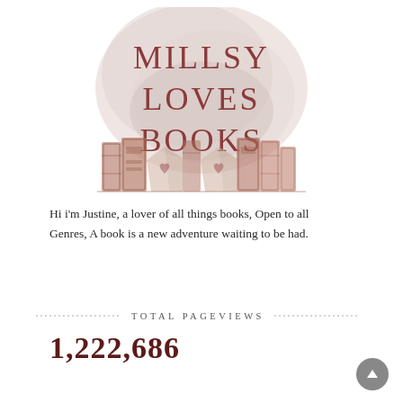[Figure (logo): Millsy Loves Books blog logo with watercolor background and illustrated vintage books at the bottom. Text reads MILLSY LOVES BOOKS in large serif letters on a pinkish-beige watercolor splash background.]
Hi i'm Justine, a lover of all things books, Open to all Genres, A book is a new adventure waiting to be had.
TOTAL PAGEVIEWS
1,222,686